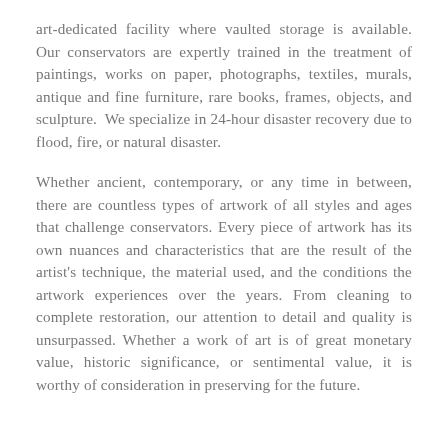art-dedicated facility where vaulted storage is available. Our conservators are expertly trained in the treatment of paintings, works on paper, photographs, textiles, murals, antique and fine furniture, rare books, frames, objects, and sculpture.  We specialize in 24-hour disaster recovery due to flood, fire, or natural disaster.
Whether ancient, contemporary, or any time in between, there are countless types of artwork of all styles and ages that challenge conservators. Every piece of artwork has its own nuances and characteristics that are the result of the artist's technique, the material used, and the conditions the artwork experiences over the years. From cleaning to complete restoration, our attention to detail and quality is unsurpassed. Whether a work of art is of great monetary value, historic significance, or sentimental value, it is worthy of consideration in preserving for the future.